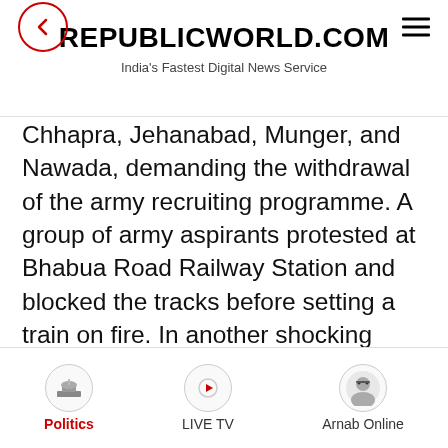REPUBLICWORLD.COM
India's Fastest Digital News Service
Chhapra, Jehanabad, Munger, and Nawada, demanding the withdrawal of the army recruiting programme. A group of army aspirants protested at Bhabua Road Railway Station and blocked the tracks before setting a train on fire. In another shocking incident, protestors blocked roads in Darbhanga, in the midst of which a school bus full of terrified children was stuck.
[Figure (illustration): Yellow circle with large quotation mark symbol inside]
"Vandalism incidents in railway...
Politics | LIVE TV | Arnab Online